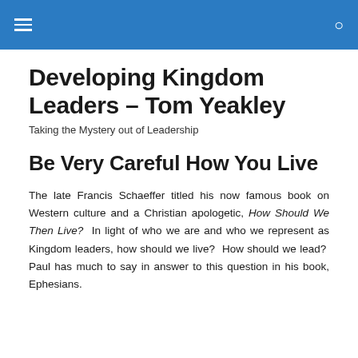≡  🔍
Developing Kingdom Leaders – Tom Yeakley
Taking the Mystery out of Leadership
Be Very Careful How You Live
The late Francis Schaeffer titled his now famous book on Western culture and a Christian apologetic, How Should We Then Live?  In light of who we are and who we represent as Kingdom leaders, how should we live?  How should we lead?  Paul has much to say in answer to this question in his book, Ephesians.